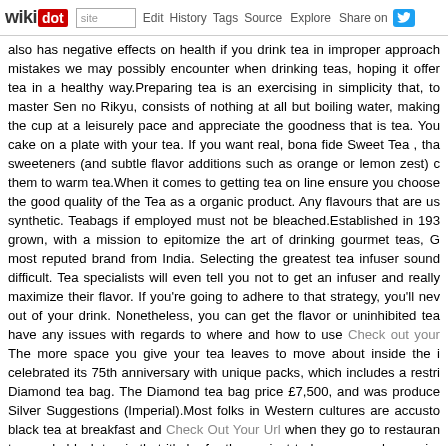wikidot | site | Edit | History | Tags | Source | Explore | Share on [Twitter]
also has negative effects on health if you drink tea in improper approach mistakes we may possibly encounter when drinking teas, hoping it offer tea in a healthy way.Preparing tea is an exercising in simplicity that, to master Sen no Rikyu, consists of nothing at all but boiling water, making the cup at a leisurely pace and appreciate the goodness that is tea. You cake on a plate with your tea. If you want real, bona fide Sweet Tea , tha sweeteners (and subtle flavor additions such as orange or lemon zest) c them to warm tea.When it comes to getting tea on line ensure you choose the good quality of the Tea as a organic product. Any flavours that are us synthetic. Teabags if employed must not be bleached.Established in 193 grown, with a mission to epitomize the art of drinking gourmet teas, G most reputed brand from India. Selecting the greatest tea infuser sound difficult. Tea specialists will even tell you not to get an infuser and really maximize their flavor. If you're going to adhere to that strategy, you'll nev out of your drink. Nonetheless, you can get the flavor or uninhibited tea have any issues with regards to where and how to use Check out your The more space you give your tea leaves to move about inside the i celebrated its 75th anniversary with unique packs, which includes a restri Diamond tea bag. The Diamond tea bag price £7,500, and was produce Silver Suggestions (Imperial).Most folks in Western cultures are accusto black tea at breakfast and Check Out Your Url when they go to restauran to supply black tea is that it's by far the easiest to brew properly, require folks favor it with meals.This tea turned the water cloudy - suggesting a p smells herbaceous. Even so, this tea had very a well-blended flavour. If p drink it with out milk.If the water is as well hot, the leaves will cook or bu as well cold, the complete flavor will not be released. Most teas brew choose to brew at a slightly lower temperature for delicate, light tea numerous countries including Morocco. Mint tea offers a smooth flavor ar